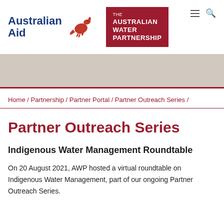[Figure (logo): Australian Aid logo with blue text and red kangaroo silhouette, alongside The Australian Water Partnership red box logo]
Home / Partnership / Partner Portal / Partner Outreach Series /
Partner Outreach Series
Indigenous Water Management Roundtable
On 20 August 2021, AWP hosted a virtual roundtable on Indigenous Water Management, part of our ongoing Partner Outreach Series.